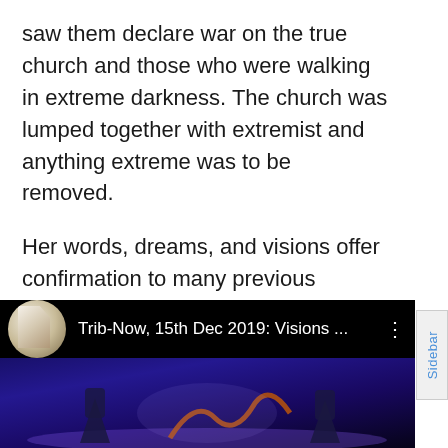saw them declare war on the true church and those who were walking in extreme darkness. The church was lumped together with extremist and anything extreme was to be removed.
Her words, dreams, and visions offer confirmation to many previous revelations documented on Z3 News, including my most recent post of a dream I had in which Obama was calling for religious unity. I pray that you seek God concerning all things. The Lord's presence is tangible in her testimony.
[Figure (screenshot): Video thumbnail showing 'Trib-Now, 15th Dec 2019: Visions ...' with a dark background and animated characters, with a circular profile icon on the left and three-dot menu icon on the right.]